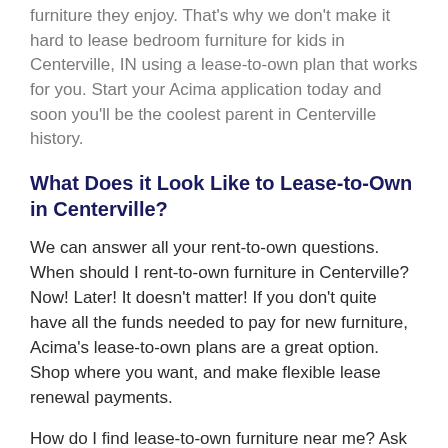furniture they enjoy. That's why we don't make it hard to lease bedroom furniture for kids in Centerville, IN using a lease-to-own plan that works for you. Start your Acima application today and soon you'll be the coolest parent in Centerville history.
What Does it Look Like to Lease-to-Own in Centerville?
We can answer all your rent-to-own questions. When should I rent-to-own furniture in Centerville? Now! Later! It doesn't matter! If you don't quite have all the funds needed to pay for new furniture, Acima's lease-to-own plans are a great option. Shop where you want, and make flexible lease renewal payments.
How do I find lease-to-own furniture near me? Ask your favorite retailers about Acima, or save time and find a rent-to-own furniture store in Centerville on our website.
How do I rent-to-own furniture? First, you pick out your new